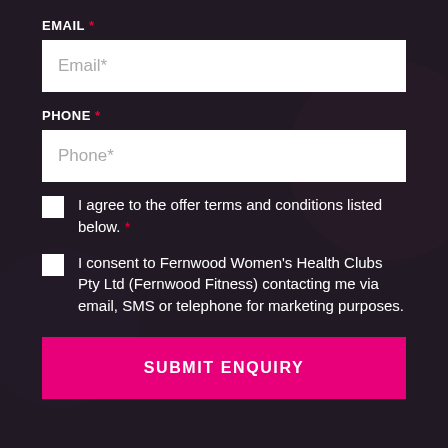EMAIL *
Email*
PHONE *
Phone*
I agree to the offer terms and conditions listed below.
I consent to Fernwood Women's Health Clubs Pty Ltd (Fernwood Fitness) contacting me via email, SMS or telephone for marketing purposes.
SUBMIT ENQUIRY